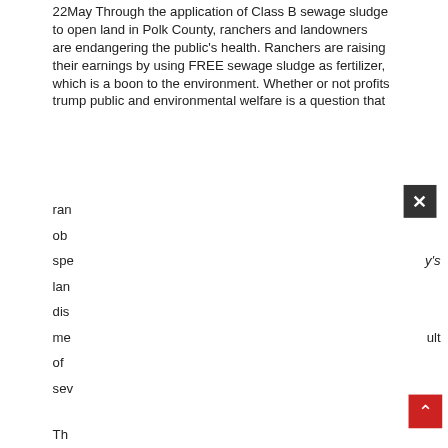22May Through the application of Class B sewage sludge to open land in Polk County, ranchers and landowners are endangering the public's health. Ranchers are raising their earnings by using FREE sewage sludge as fertilizer, which is a boon to the environment. Whether or not profits trump public and environmental welfare is a question that ran ob spe y's lan dis me ult of sev Th